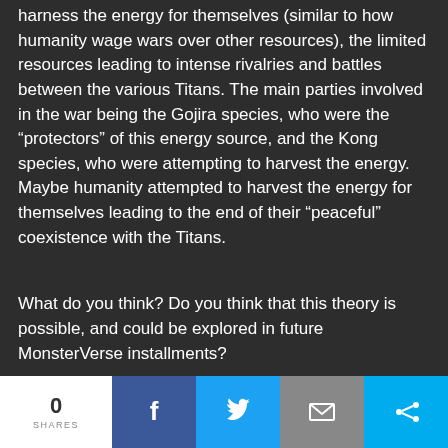harness the energy for themselves (similar to how humanity wage wars over other resources), the limited resources leading to intense rivalries and battles between the various Titans. The main parties involved in the war being the Gojira species, who were the "protectors" of this energy source, and the Kong species, who were attempting to harvest the energy. Maybe humanity attempted to harvest the energy for themselves leading to the end of their "peaceful" coexistence with the Titans.
What do you think? Do you think that this theory is possible, and could be explored in future MonsterVerse installments?
0 SHARES | Facebook share | Twitter share | Email share | More share